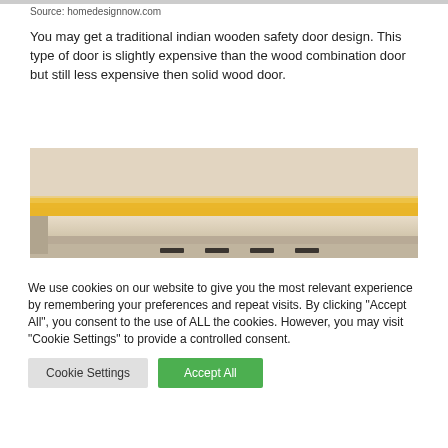Source: homedesignnow.com
You may get a traditional indian wooden safety door design. This type of door is slightly expensive than the wood combination door but still less expensive then solid wood door.
[Figure (photo): Interior photo showing a modern shelf or ledge detail with warm yellow LED lighting underneath and small rectangular ventilation slots visible along the bottom edge, against a light beige wall.]
We use cookies on our website to give you the most relevant experience by remembering your preferences and repeat visits. By clicking "Accept All", you consent to the use of ALL the cookies. However, you may visit "Cookie Settings" to provide a controlled consent.
Cookie Settings | Accept All